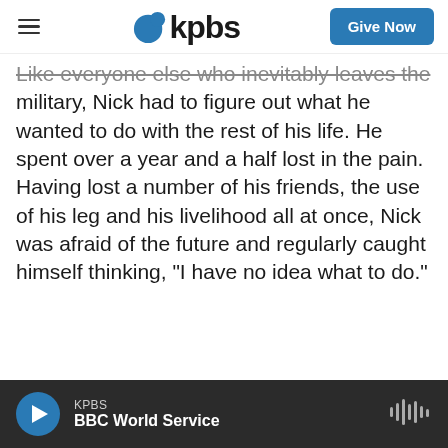KPBS | Give Now
Like everyone else who inevitably leaves the military, Nick had to figure out what he wanted to do with the rest of his life. He spent over a year and a half lost in the pain. Having lost a number of his friends, the use of his leg and his livelihood all at once, Nick was afraid of the future and regularly caught himself thinking, "I have no idea what to do."
KPBS · BBC World Service